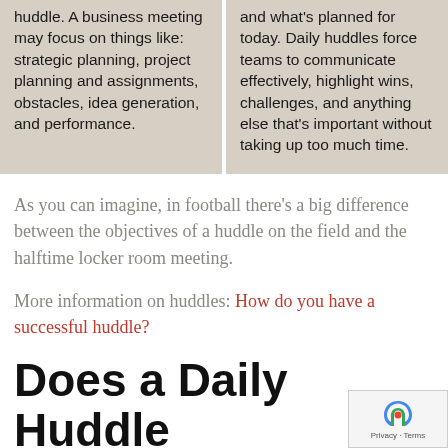huddle. A business meeting may focus on things like: strategic planning, project planning and assignments, obstacles, idea generation, and performance.
and what's planned for today. Daily huddles force teams to communicate effectively, highlight wins, challenges, and anything else that's important without taking up too much time.
As you can imagine, in football there's a big difference between the objectives of a huddle on the field and the halftime locker room meeting.
More information on huddles: How do you have a successful huddle?
Does a Daily Huddle